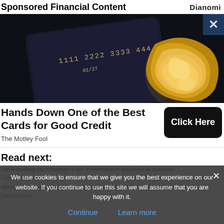Sponsored Financial Content
[Figure (photo): Dark background with a black credit card showing numbers 1111 2222 3333 4444 and expiry 01/27, alongside a crumpled gold metallic object]
Hands Down One of the Best Cards for Good Credit
The Motley Fool
Read next:
Best trading technology + $0 commission equities & options.
TradeStation
Which Savings Accounts Knock it Out of the Park? Find Out.
NerdWallet
We use cookies to ensure that we give you the best experience on our website. If you continue to use this site we will assume that you are happy with it.
Continue   Learn more